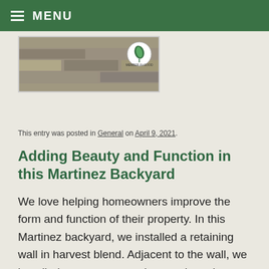MENU
[Figure (photo): Partial view of a stone retaining wall with a circular green leaf logo badge in the upper right corner of the image.]
This entry was posted in General on April 9, 2021.
Adding Beauty and Function in this Martinez Backyard
We love helping homeowners improve the form and function of their property. In this Martinez backyard, we installed a retaining wall in harvest blend. Adjacent to the wall, we installed a new paver patio, creating a large flat surface for an outdoor dining table or